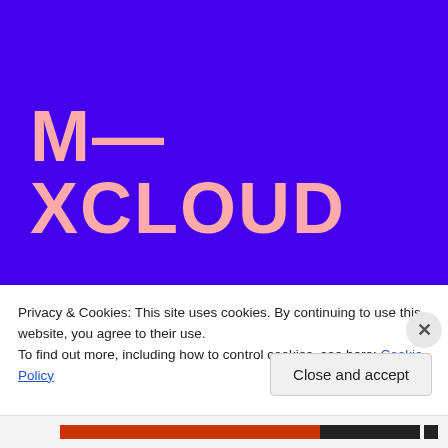[Figure (logo): Mixcloud logo — text 'M-XCLOUD' in large salmon/pink bold font on a vivid purple/blue background]
Privacy & Cookies: This site uses cookies. By continuing to use this website, you agree to their use.
To find out more, including how to control cookies, see here: Cookie Policy
Close and accept